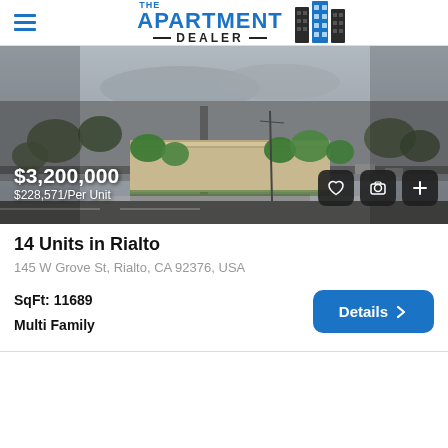THE APARTMENT DEALER
[Figure (photo): Aerial drone photo of 14-unit apartment complex at 145 W Grove St, Rialto, CA. Black and white background with color green trees and tan building in center. Price overlay: $3,200,000 / $228,571/Per Unit.]
14 Units in Rialto
145 W Grove St, Rialto, CA 92376, USA
SqFt: 11689
Multi Family